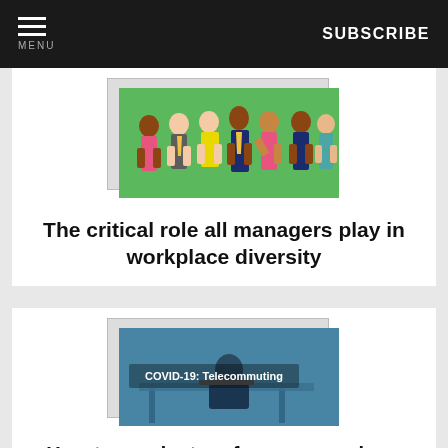MENU | SUBSCRIBE
[Figure (illustration): Illustration of a diverse group of people standing together on a green background, representing workplace diversity.]
The critical role all managers play in workplace diversity
[Figure (photo): Blue-tinted photo of a person working at a desk from home, with text overlay reading 'COVID-19: Telecommuting']
How to conduct performance reviews and one-on-ones for remote workers